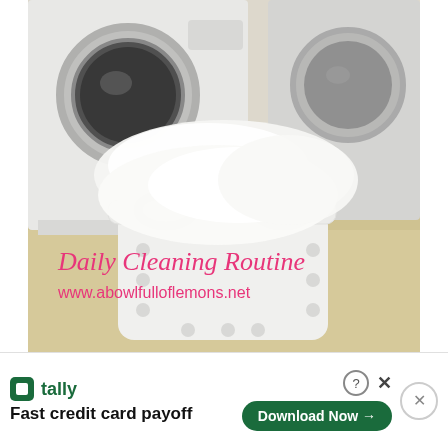[Figure (photo): Photo of a white laundry basket full of white laundry/clothes in front of a front-loading washing machine and dryer, on a light carpeted/tiled floor. Overlay text reads 'Daily Cleaning Routine' in pink cursive and 'www.abowlfulloflemons.net' in pink sans-serif.]
Daily Cleaning Routine
www.abowlfulloflemons.net
[Figure (other): Advertisement banner for Tally app. Shows Tally logo (green icon), text 'Fast credit card payoff', a 'Download Now' button with arrow, help/close icons, and an X close button.]
tally
Fast credit card payoff
Download Now →